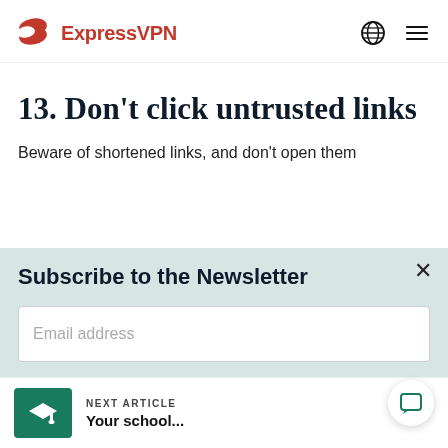ExpressVPN
13. Don't click untrusted links
Beware of shortened links, and don't open them
Subscribe to the Newsletter
Email address
NEXT ARTICLE
Your school...